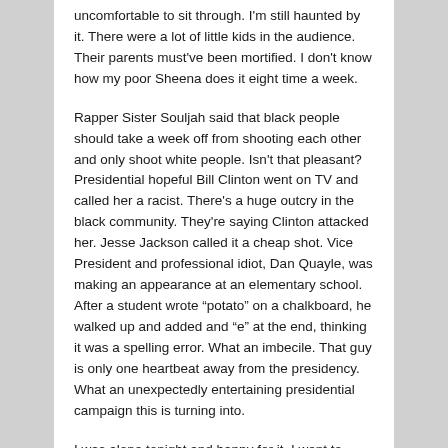uncomfortable to sit through. I'm still haunted by it. There were a lot of little kids in the audience. Their parents must've been mortified. I don't know how my poor Sheena does it eight time a week.
Rapper Sister Souljah said that black people should take a week off from shooting each other and only shoot white people. Isn't that pleasant? Presidential hopeful Bill Clinton went on TV and called her a racist. There's a huge outcry in the black community. They're saying Clinton attacked her. Jesse Jackson called it a cheap shot. Vice President and professional idiot, Dan Quayle, was making an appearance at an elementary school. After a student wrote “potato” on a chalkboard, he walked up and added and “e” at the end, thinking it was a spelling error. What an imbecile. That guy is only one heartbeat away from the presidency. What an unexpectedly entertaining presidential campaign this is turning into.
I was alone tonight and happy for it. I went to Café Mogador on St. Mark's Place. I had a bowl of split pea